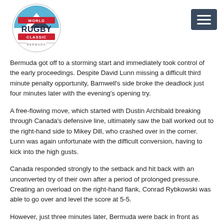[Figure (logo): World Rugby Classic Bermuda logo — circular badge with mountain/wave icon, red banner with 'WORLD', bold navy 'RUGBY', red 'CLASSIC' text, small 'BERMUDA' text at bottom]
Bermuda got off to a storming start and immediately took control of the early proceedings. Despite David Lunn missing a difficult third minute penalty opportunity, Barnwell's side broke the deadlock just four minutes later with the evening's opening try.
A free-flowing move, which started with Dustin Archibald breaking through Canada's defensive line, ultimately saw the ball worked out to the right-hand side to Mikey Dill, who crashed over in the corner. Lunn was again unfortunate with the difficult conversion, having to kick into the high gusts.
Canada responded strongly to the setback and hit back with an unconverted try of their own after a period of prolonged pressure. Creating an overload on the right-hand flank, Conrad Rybkowski was able to go over and level the score at 5-5.
However, just three minutes later, Bermuda were back in front as Rory O'Kelly-Lynch found a gap in the defensive line to break